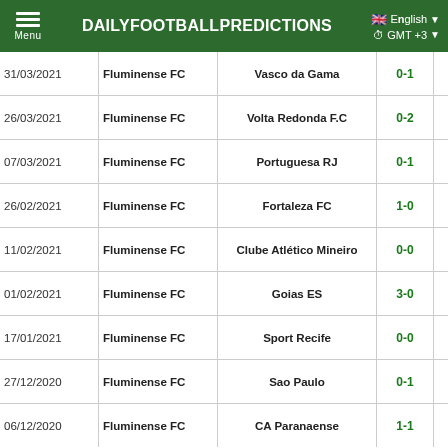DAILYFOOTBALLPREDICTIONS | English | GMT +3
| Date | Home | Away | HT | FT |
| --- | --- | --- | --- | --- |
| 31/03/2021 | Fluminense FC | Vasco da Gama | 0-1 | 1-1 |
| 26/03/2021 | Fluminense FC | Volta Redonda F.C | 0-2 | 2-3 |
| 07/03/2021 | Fluminense FC | Portuguesa RJ | 0-1 | 0-3 |
| 26/02/2021 | Fluminense FC | Fortaleza FC | 1-0 | 2-0 |
| 11/02/2021 | Fluminense FC | Clube Atlético Mineiro | 0-0 | 0-0 |
| 01/02/2021 | Fluminense FC | Goias ES | 3-0 | 3-0 |
| 17/01/2021 | Fluminense FC | Sport Recife | 0-0 | 1-0 |
| 27/12/2020 | Fluminense FC | Sao Paulo | 0-1 | 1-2 |
| 06/12/2020 | Fluminense FC | CA Paranaense | 1-1 | 3-1 |